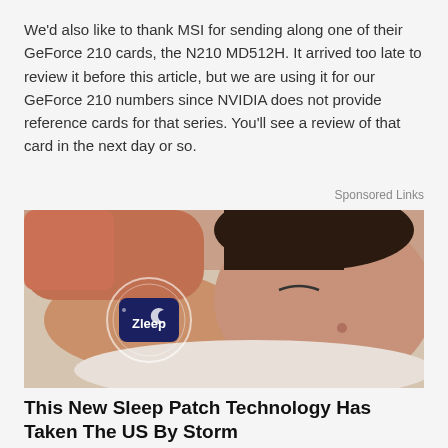We'd also like to thank MSI for sending along one of their GeForce 210 cards, the N210 MD512H. It arrived too late to review it before this article, but we are using it for our GeForce 210 numbers since NVIDIA does not provide reference cards for that series. You'll see a review of that card in the next day or so.
Sponsored Links
[Figure (photo): A woman lying down sleeping with a Zleep sleep patch device visible on her arm, shown in a circle/ring highlight effect.]
This New Sleep Patch Technology Has Taken The US By Storm